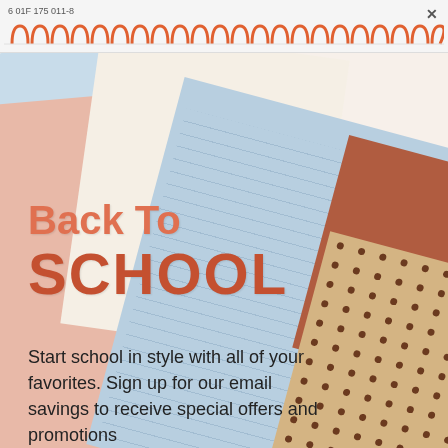6 01F 175 011-8
[Figure (illustration): Back to school promotional image showing overlapping colorful notebooks (blue, peach, cream, rust, tan with dots) fanned out on white background with spiral ring binding visible at top]
Back To SCHOOL
Start school in style with all of your favorites. Sign up for our email savings to receive special offers and promotions